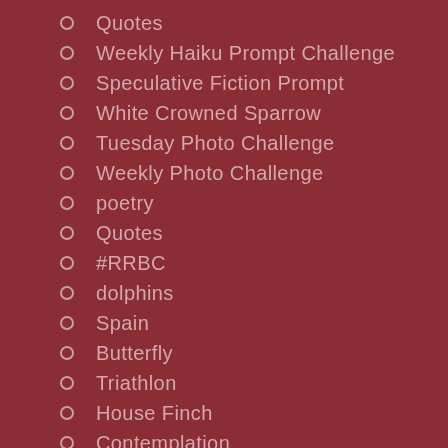Quotes
Weekly Haiku Prompt Challenge
Speculative Fiction Prompt
White Crowned Sparrow
Tuesday Photo Challenge
Weekly Photo Challenge
poetry
Quotes
#RRBC
dolphins
Spain
Butterfly
Triathlon
House Finch
Contemplation
Inspiration
Music
flowers
Nature